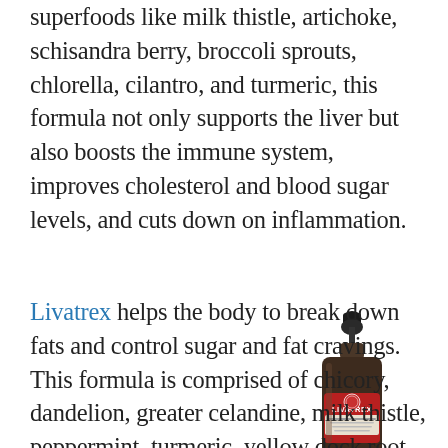superfoods like milk thistle, artichoke, schisandra berry, broccoli sprouts, chlorella, cilantro, and turmeric, this formula not only supports the liver but also boosts the immune system, improves cholesterol and blood sugar levels, and cuts down on inflammation.
Livatrex helps the body to break down fats and control sugar and fat cravings. This formula is comprised of chicory, dandelion, greater celandine, milk thistle, peppermint, turmeric, yellow dock root, and chanca piedra, all organic, which work
[Figure (photo): A dark amber glass dropper bottle labeled LIVATREX with a red label, shown against a white background]